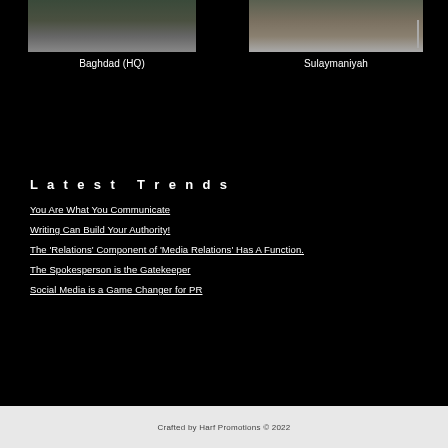[Figure (photo): Photo of Baghdad (HQ) office exterior with a car visible]
Baghdad (HQ)
[Figure (photo): Photo of Sulaymaniyah office interior with desks and chairs]
Sulaymaniyah
Latest Trends
You Are What You Communicate
Writing Can Build Your Authority!
The 'Relations' Component of 'Media Relations' Has A Function.
The Spokesperson is the Gatekeeper
Social Media is a Game Changer for PR
Crafted by Harf Promotions © 2022